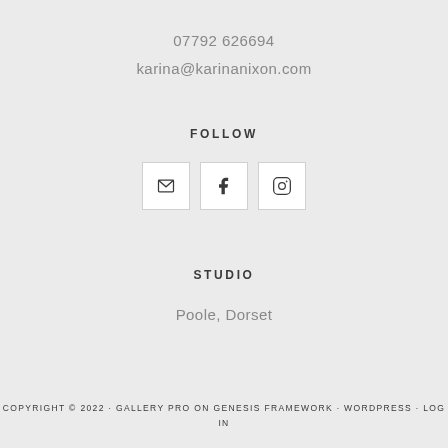07792 626694
karina@karinanixon.com
FOLLOW
[Figure (other): Three social media icon buttons (email envelope, Facebook f, Instagram camera) in white square boxes with light borders]
STUDIO
Poole, Dorset
COPYRIGHT © 2022 · GALLERY PRO ON GENESIS FRAMEWORK · WORDPRESS · LOG IN